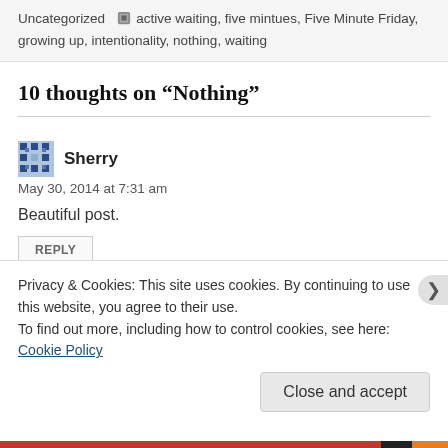Uncategorized · active waiting, five mintues, Five Minute Friday, growing up, intentionality, nothing, waiting
10 thoughts on “Nothing”
Sherry
May 30, 2014 at 7:31 am
Beautiful post.
REPLY
Privacy & Cookies: This site uses cookies. By continuing to use this website, you agree to their use.
To find out more, including how to control cookies, see here: Cookie Policy
Close and accept